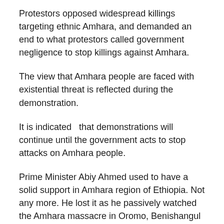Protestors opposed widespread killings targeting ethnic Amhara, and demanded an end to what protestors called government negligence to stop killings against Amhara.
The view that Amhara people are faced with existential threat is reflected during the demonstration.
It is indicated  that demonstrations will continue until the government acts to stop attacks on Amhara people.
Prime Minister Abiy Ahmed used to have a solid support in Amhara region of Ethiopia. Not any more. He lost it as he passively watched the Amhara massacre in Oromo, Benishangul and now Amahra regions of Ethiopia over the past three years.
At a time when Oromo radical forces were burning cities in North Shoa and South Wollo last week, he was inaugurating a new building for the “intelligence” department. Worse, he did not remark or express a message of condolences for